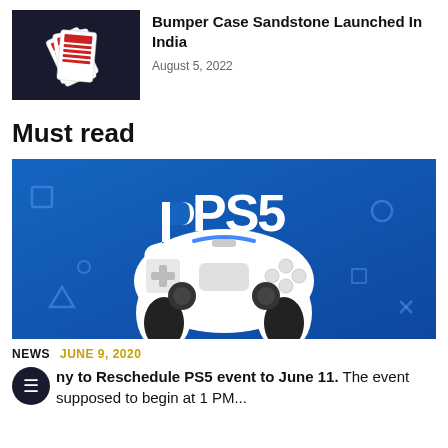[Figure (photo): Thumbnail image of playing cards fanned out on a dark background]
Bumper Case Sandstone Launched In India
August 5, 2022
Must read
[Figure (photo): PS5 promotional banner with PlayStation logo and DualSense controller on a blue background]
NEWS  JUNE 9, 2020
ny to Reschedule PS5 event to June 11.  The event supposed to begin at 1 PM...